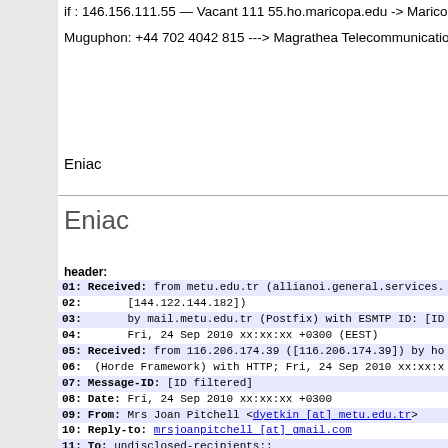if : 146.156.111.55 — Vacant 111 55.ho.maricopa.edu -> Maricopa
Muguphon: +44 702 4042 815 ---> Magrathea Telecommunications
Eniac
Eniac
header:
01: Received: from metu.edu.tr (allianoi.general.services.
02:      [144.122.144.182])
03:      by mail.metu.edu.tr (Postfix) with ESMTP ID: [ID f
04:      Fri, 24 Sep 2010 xx:xx:xx +0300 (EEST)
05: Received: from 116.206.174.39 ([116.206.174.39]) by ho
06: (Horde Framework) with HTTP; Fri, 24 Sep 2010 xx:xx:x
07: Message-ID: [ID filtered]
08: Date: Fri, 24 Sep 2010 xx:xx:xx +0300
09: From: Mrs Joan Pitchell <dyetkin [at] metu.edu.tr>
10: Reply-to: mrsjoanpitchell [at] gmail.com
11: To: undisclosed-recipients:;
12: Subject:
13: MIME-Version: 1.0
14: Content-Type: text/plain;
15:   charset=ISO-8859-1;
16:   DelSp="Yes";
17:   format="flowed"